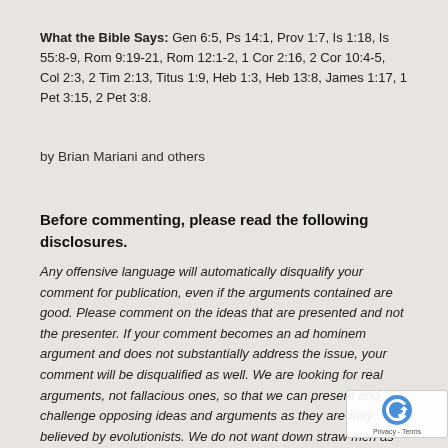What the Bible Says: Gen 6:5, Ps 14:1, Prov 1:7, Is 1:18, Is 55:8-9, Rom 9:19-21, Rom 12:1-2, 1 Cor 2:16, 2 Cor 10:4-5, Col 2:3, 2 Tim 2:13, Titus 1:9, Heb 1:3, Heb 13:8, James 1:17, 1 Pet 3:15, 2 Pet 3:8.
by Brian Mariani and others
Before commenting, please read the following disclosures.
Any offensive language will automatically disqualify your comment for publication, even if the arguments contained are good. Please comment on the ideas that are presented and not the presenter. If your comment becomes an ad hominem argument and does not substantially address the issue, your comment will be disqualified as well. We are looking for real arguments, not fallacious ones, so that we can present and challenge opposing ideas and arguments as they are truly believed by evolutionists. We do not want down straw men as well as you do not want to be misrepre... Also, please keep your comments as brief as possible, and majority of the comment does not address the current issue, but